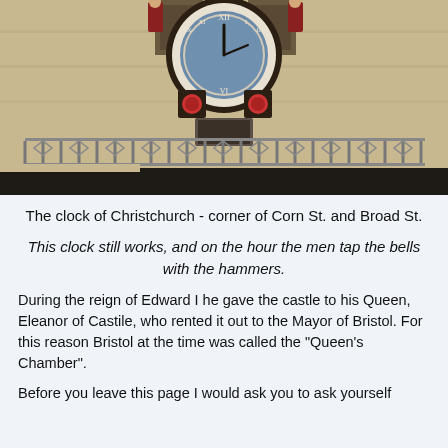[Figure (photo): Photograph of the clock of Christchurch at the corner of Corn St. and Broad St., showing a large ornate clock face with Roman numerals, decorative figures/statues flanking it, an ornamental iron balcony railing below, and a dark stone cornice at the bottom.]
The clock of Christchurch - corner of Corn St. and Broad St.
This clock still works, and on the hour the men tap the bells with the hammers.
During the reign of Edward I he gave the castle to his Queen, Eleanor of Castile, who rented it out to the Mayor of Bristol. For this reason Bristol at the time was called the "Queen's Chamber".
Before you leave this page I would ask you to ask yourself about your opinion of famous English cities rebuilt